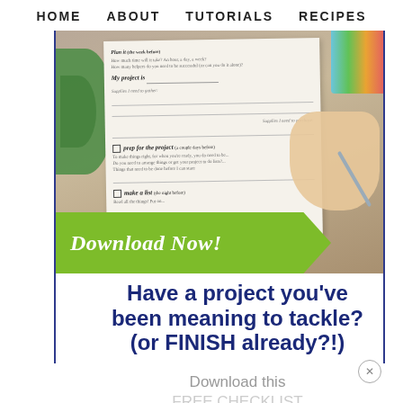HOME   ABOUT   TUTORIALS   RECIPES
[Figure (screenshot): A screenshot of a webpage showing a promotional popup. The top section shows a photo of a project planning worksheet being filled out with a pen, with markers in the background and a plant visible. A green arrow-shaped banner reads 'Download Now!' Over the photo. Below the image, bold dark blue text reads 'Have a project you've been meaning to tackle? (or FINISH already?!)' followed by lighter gray text 'Download this FREE CHECKLIST to help you get the big deal' (partially cut off). A close (x) button is visible in the lower right.]
Have a project you've been meaning to tackle? (or FINISH already?!)
Download this FREE CHECKLIST to help you get the big deal